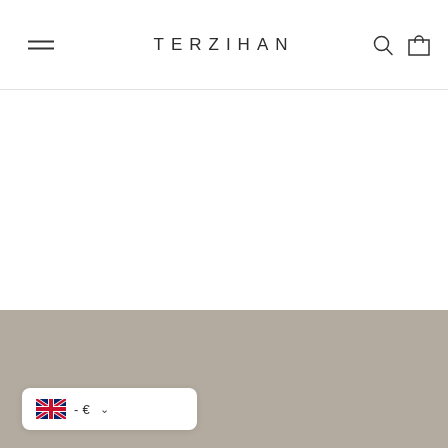TERZIHAN
[Figure (screenshot): White content area below header, empty]
[Figure (screenshot): Gray/taupe footer area]
- € ∨